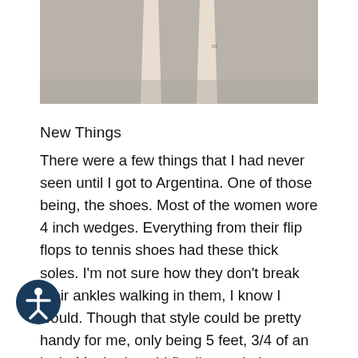[Figure (photo): Close-up photo of a person's legs/feet from below, showing thin legs against a gray surface, likely showing shoes or bare feet from above]
New Things
There were a few things that I had never seen until I got to Argentina. One of those being, the shoes. Most of the women wore 4 inch wedges. Everything from their flip flops to tennis shoes had these thick soles. I'm not sure how they don't break their ankles walking in them, I know I would. Though that style could be pretty handy for me, only being 5 feet, 3/4 of an inch. Maybe I could finally reach the top shelf without a stool. Another very interesting thing that I experienced was the food. I have never seen more ham in my life. It's on